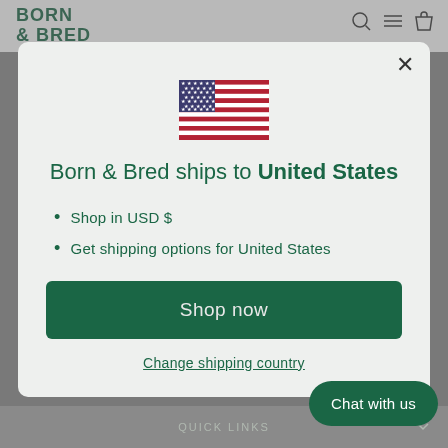BORN & BRED
[Figure (illustration): US flag icon centered in modal dialog]
Born & Bred ships to United States
Shop in USD $
Get shipping options for United States
Shop now
Change shipping country
Chat with us
QUICK LINKS